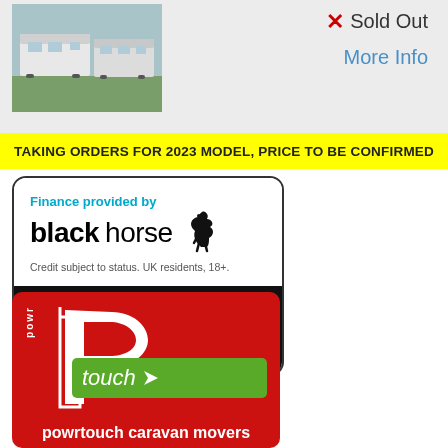[Figure (photo): Photograph of white caravans parked outdoors on grass]
✕ Sold Out
More Info
TAKING ORDERS FOR 2023 MODEL, PRICE TO BE CONFIRMED
[Figure (logo): Black Horse finance logo with text: Finance provided by blackhorse. Credit subject to status. UK residents, 18+. Phone: 01278 782725. Call or visit for a quote.]
[Figure (logo): Powrtouch caravan movers logo — red background with large white P shape, green touch banner with flag icon, text: powr touch, powrtouch caravan movers]